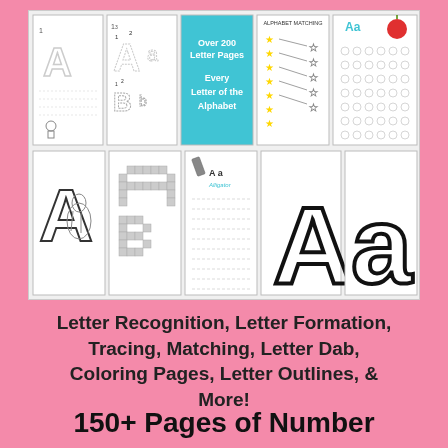[Figure (illustration): A collage of alphabet worksheet preview pages showing letter tracing, letter formation, letter matching, letter coloring pages, letter outlines, and a cyan card reading 'Over 200 Letter Pages Every Letter of the Alphabet'. The top row shows 5 worksheet previews and the bottom row shows 5 more worksheet previews for the letter A.]
Letter Recognition, Letter Formation, Tracing, Matching, Letter Dab, Coloring Pages, Letter Outlines, & More!
150+ Pages of Number